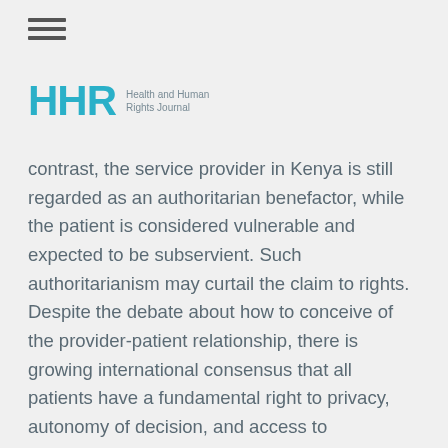☰
[Figure (logo): HHR Health and Human Rights Journal logo with teal/cyan lettering]
contrast, the service provider in Kenya is still regarded as an authoritarian benefactor, while the patient is considered vulnerable and expected to be subservient. Such authoritarianism may curtail the claim to rights. Despite the debate about how to conceive of the provider-patient relationship, there is growing international consensus that all patients have a fundamental right to privacy, autonomy of decision, and access to information. Ultimately, a human rights approach calls for an accommodative provider-patient relationship. Ideally, this would guarantee the patient the right to autonomy, free expression, self-determination, information, personalized attention, and non-discrimination.